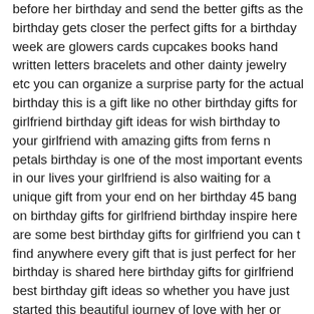before her birthday and send the better gifts as the birthday gets closer the perfect gifts for a birthday week are glowers cards cupcakes books hand written letters bracelets and other dainty jewelry etc you can organize a surprise party for the actual birthday this is a gift like no other birthday gifts for girlfriend birthday gift ideas for wish birthday to your girlfriend with amazing gifts from ferns n petals birthday is one of the most important events in our lives your girlfriend is also waiting for a unique gift from your end on her birthday 45 bang on birthday gifts for girlfriend birthday inspire here are some best birthday gifts for girlfriend you can t find anywhere every gift that is just perfect for her birthday is shared here birthday gifts for girlfriend best birthday gift ideas so whether you have just started this beautiful journey of love with her or know her from quite some time igp has amazing creative birthday gifts for girlfriend that are sure to impress her you can select from mugs to jewellery appeals make up kits and many more items the list is long and gets even more interesting with every click what to get your girlfriend for her birthday in 2018 down below i have shared some of the best gifts for a girlfriend on her birthday to be considered these are some general gift suggestions if you want to get a quick list of recommended gifts you can buy online then you can switch to next list below this list or you can check this list of birthday gift ideas for